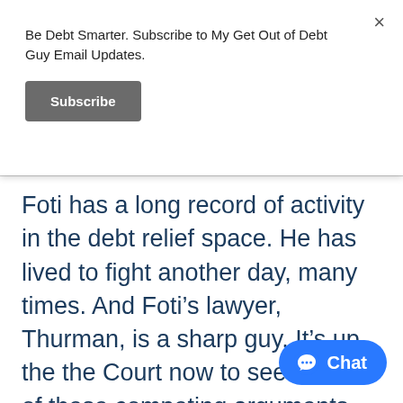Be Debt Smarter. Subscribe to My Get Out of Debt Guy Email Updates.
Subscribe
Foti has a long record of activity in the debt relief space. He has lived to fight another day, many times. And Foti’s lawyer, Thurman, is a sharp guy. It’s up the the Court now to see if either of these competing arguments gets any traction. Only time will tell.
Chat